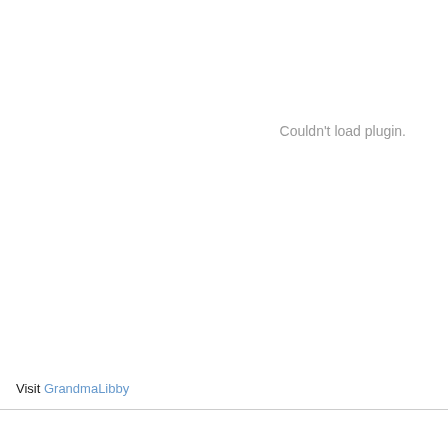Couldn't load plugin.
Visit GrandmaLibby